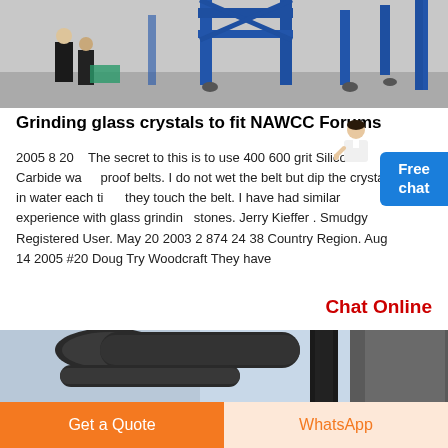[Figure (photo): Industrial blue metal frame structure with workers in foreground, factory setting]
Grinding glass crystals to fit NAWCC Forums
2005 8 20    The secret to this is to use 400 600 grit Silicon Carbide water proof belts. I do not wet the belt but dip the crystals in water each time they touch the belt. I have had similar experience with glass grinding stones. Jerry Kieffer . Smudgy Registered User. May 20 2003 2 874 24 38 Country Region. Aug 14 2005 #20 Doug Try Woodcraft They have
Chat Online
[Figure (photo): Industrial pipes and ductwork on building exterior]
Get a Quote
WhatsApp